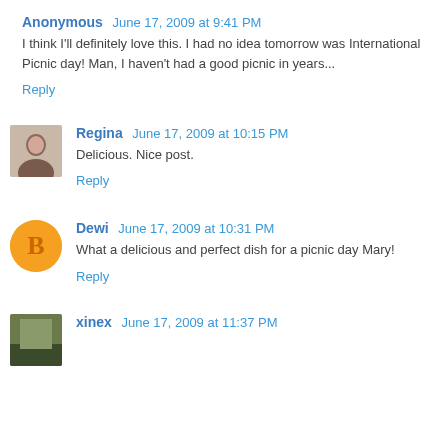Anonymous  June 17, 2009 at 9:41 PM
I think I'll definitely love this. I had no idea tomorrow was International Picnic day! Man, I haven't had a good picnic in years...
Reply
Regina  June 17, 2009 at 10:15 PM
Delicious. Nice post.
Reply
Dewi  June 17, 2009 at 10:31 PM
What a delicious and perfect dish for a picnic day Mary!
Reply
xinex  June 17, 2009 at 11:37 PM